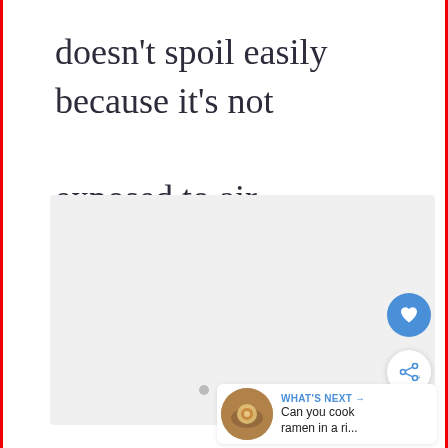doesn’t spoil easily because it’s not exposed to air.
[Figure (photo): Light gray placeholder image area]
[Figure (screenshot): What's Next card with thumbnail of ramen dish, text: WHAT'S NEXT Can you cook ramen in a ri...]